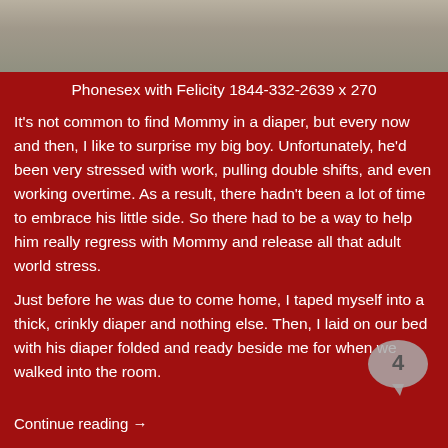[Figure (photo): Partial photo of hands or a person on a fabric/fur surface, cropped at top of page]
Phonesex with Felicity 1844-332-2639 x 270
It's not common to find Mommy in a diaper, but every now and then, I like to surprise my big boy. Unfortunately, he'd been very stressed with work, pulling double shifts, and even working overtime. As a result, there hadn't been a lot of time to embrace his little side. So there had to be a way to help him really regress with Mommy and release all that adult world stress.
Just before he was due to come home, I taped myself into a thick, crinkly diaper and nothing else. Then, I laid on our bed with his diaper folded and ready beside me for when we walked into the room.
Continue reading →